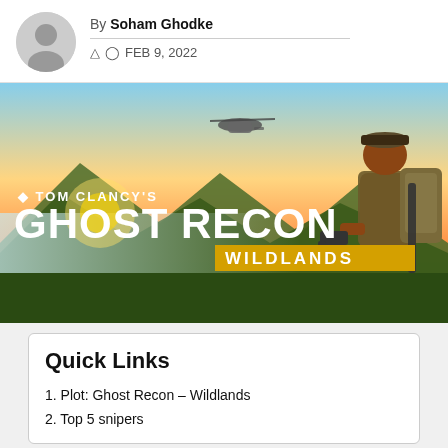By Soham Ghodke
FEB 9, 2022
[Figure (photo): Tom Clancy's Ghost Recon Wildlands game cover art showing a soldier with weapons overlooking a landscape, with a helicopter in the background and sunset sky.]
Quick Links
1. Plot: Ghost Recon – Wildlands
2. Top 5 snipers